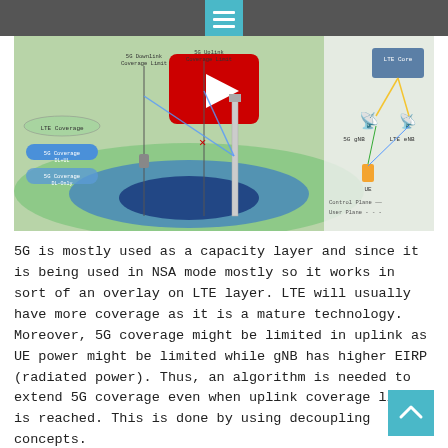[Figure (screenshot): A YouTube video thumbnail showing a 5G/LTE coverage diagram. On the left side, labels show LTE Coverage, 5G Coverage DL+UL, and 5G Coverage DL-Only ovals. There are vertical lines for 5G Downlink Coverage Limit and 5G Uplink Coverage Limit. A tower is shown in the center with blue oval coverage areas. On the right, a network diagram shows 5G NR, LTE eNB, and LTE Core connected with colored lines, along with a UE device and Control Plane/User Plane legend.]
5G is mostly used as a capacity layer and since it is being used in NSA mode mostly so it works in sort of an overlay on LTE layer. LTE will usually have more coverage as it is a mature technology. Moreover, 5G coverage might be limited in uplink as UE power might be limited while gNB has higher EIRP (radiated power). Thus, an algorithm is needed to extend 5G coverage even when uplink coverage limit is reached. This is done by using decoupling concepts.
The concept of decoupling basically takes advantage of the NSA architecture. In Non-Stand Alone mode,